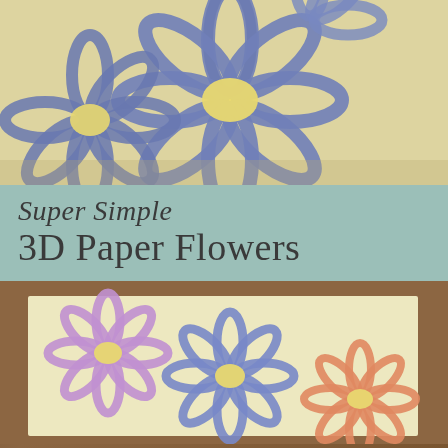[Figure (photo): Close-up photograph of blue 3D paper flowers made from looped paper strips with yellow centers, on a light yellow background]
Super Simple 3D Paper Flowers
[Figure (photo): Three small 3D paper flowers (purple, blue, and coral/orange) with yellow centers placed on a cream-colored sheet of paper on a wooden table]